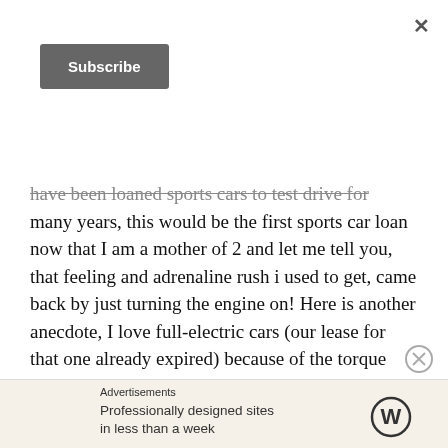×
Subscribe
have been loaned sports cars to test drive for many years, this would be the first sports car loan now that I am a mother of 2 and let me tell you, that feeling and adrenaline rush i used to get, came back by just turning the engine on! Here is another anecdote, I love full-electric cars (our lease for that one already expired) because of the torque power (is it called that in electric cars too?) however, the vroom you get and having the whole car rumble when it starts, is something that can only be with a gas-powered
Advertisements
Professionally designed sites in less than a week